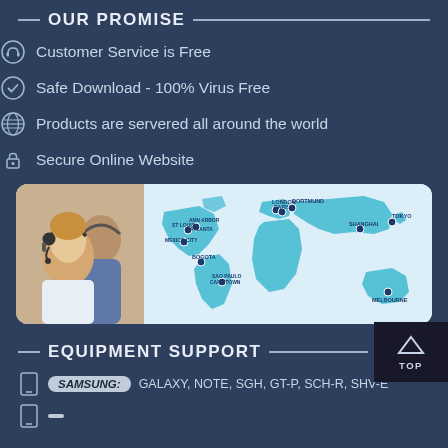OUR PROMISE
Customer Service is Free
Safe Download - 100% Virus Free
Products are servered all around the world
Secure Online Website
[Figure (infographic): Customer service representatives with headsets on left side, world map with location pins on right showing cities: London, Paris, Dortmund, St. Louis, Ann Arbor, Atlanta, Mexico City, Bogota, Sao Paulo, Cape Town, Shanghai, Tokyo, Melbourne]
EQUIPMENT SUPPORT
SAMSUNG: GALAXY, NOTE, SGH, GT-P, SCH-R, SHV-E